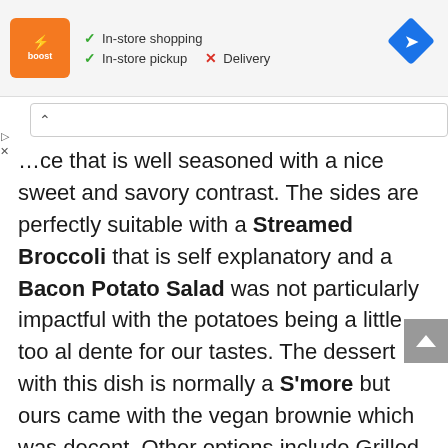[Figure (screenshot): Top banner showing Boost store logo (orange square with lightning bolt and 'boost' text), checkmarks for 'In-store shopping' and 'In-store pickup', red X for 'Delivery', and a blue navigation diamond icon on the right.]
...ce that is well seasoned with a nice sweet and savory contrast. The sides are perfectly suitable with a Streamed Broccoli that is self explanatory and a Bacon Potato Salad was not particularly impactful with the potatoes being a little too al dente for our tastes. The dessert with this dish is normally a S'more but ours came with the vegan brownie which was decent. Other options include Grilled Salmon over salad, BBQ Ribs, and a Sloppy